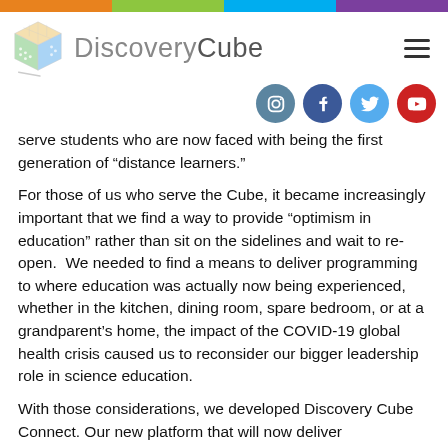[Figure (logo): Discovery Cube logo with colorful cube graphic and text]
[Figure (infographic): Social media icons row: Instagram, Facebook, Twitter, YouTube]
serve students who are now faced with being the first generation of “distance learners.”
For those of us who serve the Cube, it became increasingly important that we find a way to provide “optimism in education” rather than sit on the sidelines and wait to re-open. We needed to find a means to deliver programming to where education was actually now being experienced, whether in the kitchen, dining room, spare bedroom, or at a grandparent’s home, the impact of the COVID-19 global health crisis caused us to reconsider our bigger leadership role in science education.
With those considerations, we developed Discovery Cube Connect. Our new platform that will now deliver